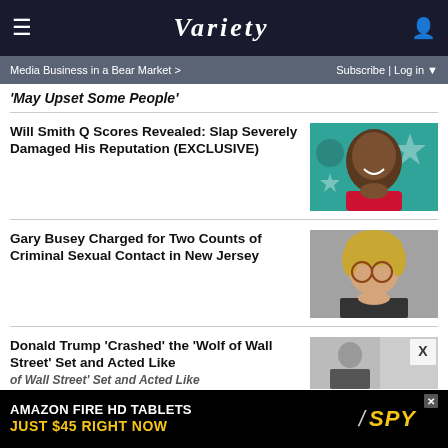Variety
Media Business in a Bear Market >
May Upset Some People
Will Smith Q Scores Revealed: Slap Severely Damaged His Reputation (EXCLUSIVE)
[Figure (photo): Illustrated portrait of Will Smith smiling, wearing a red jacket, on a teal background with stars]
Gary Busey Charged for Two Counts of Criminal Sexual Contact in New Jersey
[Figure (photo): Photo of Gary Busey with long blond hair and glasses, wearing a dark jacket]
Donald Trump 'Crashed' the 'Wolf of Wall Street' Set and Acted Like
[Figure (photo): Partial photo showing a person in dark clothing]
[Figure (infographic): Amazon Fire HD Tablets advertisement - JUST $45 RIGHT NOW - SPY logo]